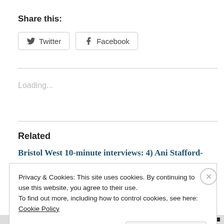Share this:
Twitter  Facebook
Loading...
Related
Bristol West 10-minute interviews: 4) Ani Stafford-
Privacy & Cookies: This site uses cookies. By continuing to use this website, you agree to their use.
To find out more, including how to control cookies, see here:
Cookie Policy
Close and accept